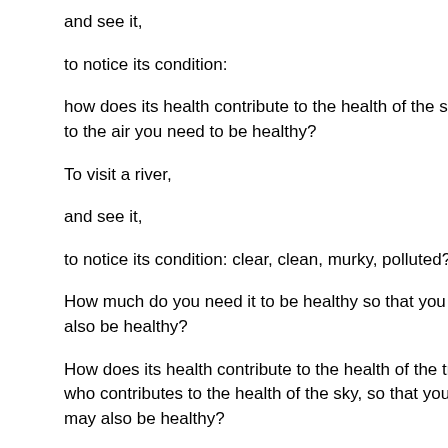and see it,
to notice its condition:
how does its health contribute to the health of the sky, to the air you need to be healthy?
To visit a river,
and see it,
to notice its condition: clear, clean, murky, polluted?
How much do you need it to be healthy so that you may also be healthy?
How does its health contribute to the health of the tree, who contributes to the health of the sky, so that you may also be healthy?
Many are afraid now.
Do not demonize your fear, and also, do not let it rule you.